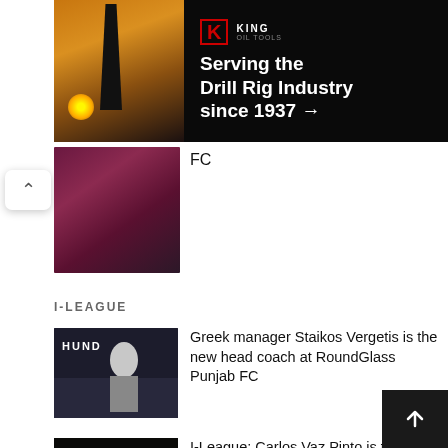[Figure (photo): King Oil Tools advertisement banner with drill rig photo at sunset on left, and text 'Serving the Drill Rig Industry since 1937 →' on dark background]
[Figure (photo): Partial football/soccer article image showing players in maroon jerseys]
FC
I-LEAGUE
[Figure (photo): Man in dark clothing standing in front of Hund sign background - Greek manager Staikos Vergetis]
Greek manager Staikos Vergetis is the new head coach at RoundGlass Punjab FC
[Figure (photo): Man holding trophy in stadium - Carlos Vaz Pinto at DATS IANO stadium backdrop]
I-League: Carlos Vaz Pinto is the new head coach of Sreenidi Deccan FC
[Figure (photo): Young footballer in orange jersey - Hyderabad FC signing]
Hyderabad FC sign Aizawl FC's Ramhlunchhunga on a long-term cont